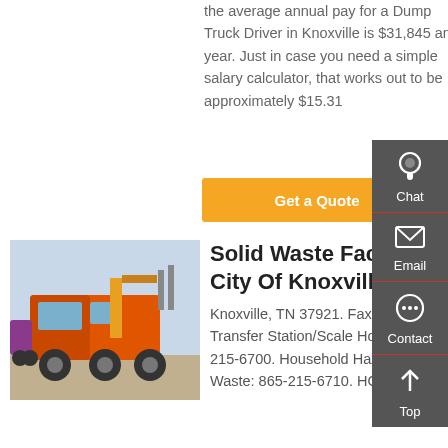the average annual pay for a Dump Truck Driver in Knoxville is $31,845 an year. Just in case you need a simple salary calculator, that works out to be approximately $15.31
Get a Quote
[Figure (photo): Orange dump truck / heavy vehicle photographed from behind-side angle in a yard]
Solid Waste Facility - City Of Knoxville
Knoxville, TN 37921. Fax: 215-6711. Transfer Station/Scale House: 865-215-6700. Household Hazardous Waste: 865-215-6710. HOLIDAY